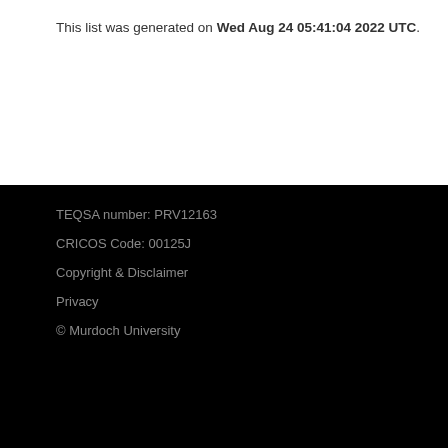This list was generated on Wed Aug 24 05:41:04 2022 UTC.
TEQSA number: PRV12163
CRICOS Code: 00125J
Copyright & Disclaimer
Privacy
© Murdoch University